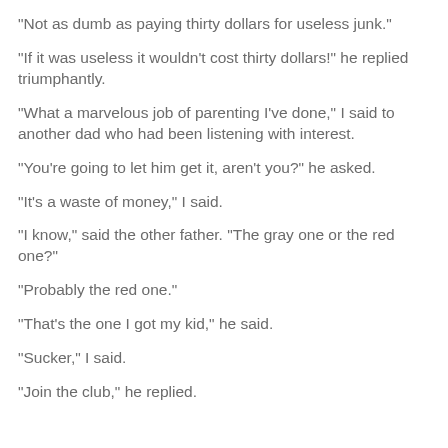"Not as dumb as paying thirty dollars for useless junk."
"If it was useless it wouldn't cost thirty dollars!" he replied triumphantly.
"What a marvelous job of parenting I've done," I said to another dad who had been listening with interest.
"You're going to let him get it, aren't you?" he asked.
"It's a waste of money," I said.
"I know," said the other father. "The gray one or the red one?"
"Probably the red one."
"That's the one I got my kid," he said.
"Sucker," I said.
"Join the club," he replied.